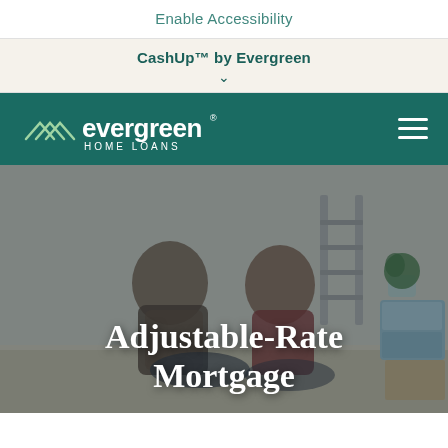Enable Accessibility
CashUp™ by Evergreen
[Figure (logo): Evergreen Home Loans logo — stylized white mountain/chevron lines beside the word 'evergreen' in white, with 'HOME LOANS' below, on a teal background]
Adjustable-Rate Mortgage
[Figure (photo): A couple sitting on the floor of a room being renovated, smiling and laughing, surrounded by boxes and a ladder. The image is overlaid with a semi-transparent dark tint.]